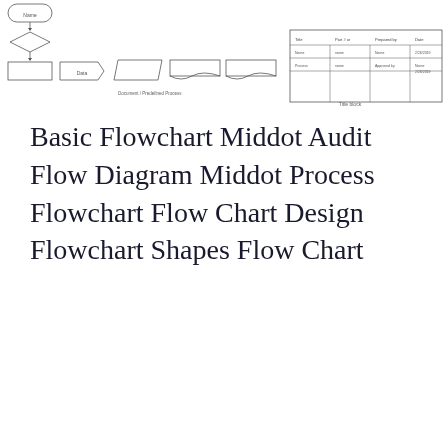[Figure (flowchart): A collection of flowchart diagram thumbnails showing basic flowchart shapes, audit flow diagram, process flowchart, flow chart design with a title block table, and flowchart shape symbols at the top of the page.]
Basic Flowchart Middot Audit Flow Diagram Middot Process Flowchart Flow Chart Design Flowchart Shapes Flow Chart